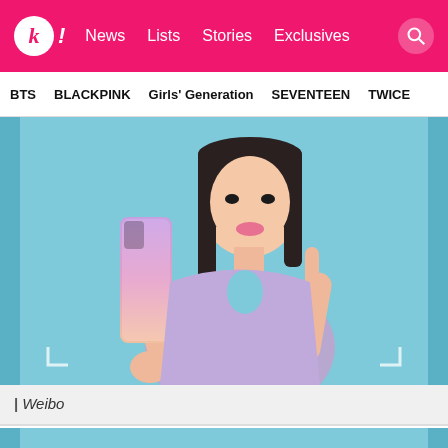k! News | Lists | Stories | Exclusives
BTS | BLACKPINK | Girls' Generation | SEVENTEEN | TWICE
[Figure (photo): A young woman in a lavender outfit holding a purple-to-pink gradient smartphone (Vivo phone) against a light blue background, pointing her finger toward the camera.]
| Weibo
[Figure (photo): Bottom partial preview of another image with blue/teal background.]